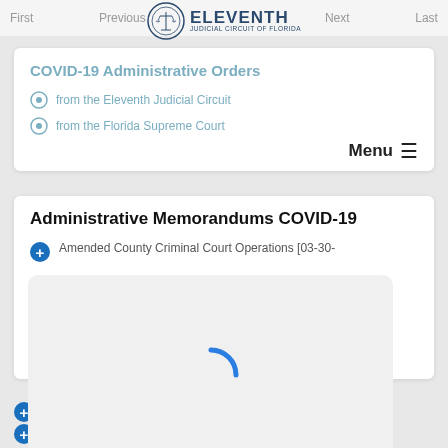First   Previous   ...   Next   Last
[Figure (logo): Eleventh Judicial Circuit of Florida seal and text logo]
COVID-19 Administrative Orders
from the Eleventh Judicial Circuit
from the Florida Supreme Court
Administrative Memorandums COVID-19
Amended County Criminal Court Operations [03-30-
[Figure (other): Loading spinner overlay (partial circle arc in blue) on a light gray rounded rectangle]
Hybrid Court Operations - Amendment # 1
Amended Family Division Operations Plan Effective...